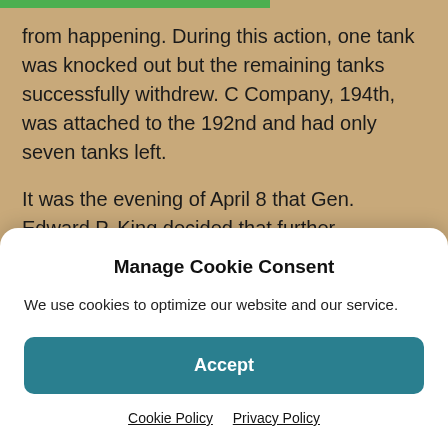from happening. During this action, one tank was knocked out but the remaining tanks successfully withdrew. C Company, 194th, was attached to the 192nd and had only seven tanks left.
It was the evening of April 8 that Gen. Edward P. King decided that further resistance was futile, since approximately 25% of his men were healthy enough to fight, and he estimated they would last one more day. In addition, he had over 6,000 troops who sick or wounded and 40,000 civilians who he feared would be massacred.
Manage Cookie Consent
We use cookies to optimize our website and our service.
Accept
Cookie Policy   Privacy Policy